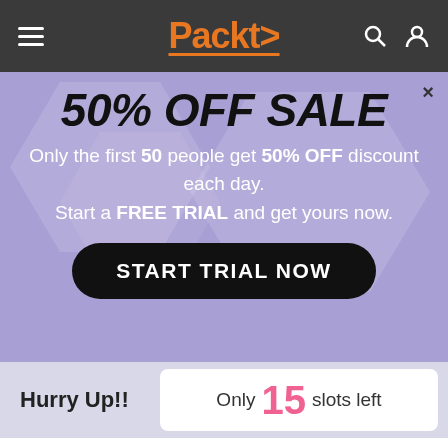Packt> [navigation header]
50% OFF SALE
Only the first 50 people get 50% OFF discount each day. Start a FREE TRIAL and get yours now.
START TRIAL NOW
Hurry Up!!
Only 15 slots left
interaction and increased our expectations. In many cases they transformed our electronic tools into actual cognitive